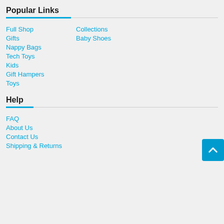Popular Links
Full Shop
Collections
Gifts
Baby Shoes
Nappy Bags
Tech Toys
Kids
Gift Hampers
Toys
Help
FAQ
About Us
Contact Us
Shipping & Returns